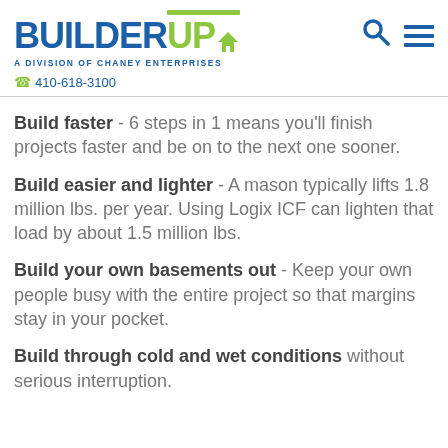[Figure (logo): BuilderUp logo - A Division of Chaney Enterprises, with blue and green branding]
☎ 410-618-3100
Build faster - 6 steps in 1 means you'll finish projects faster and be on to the next one sooner.
Build easier and lighter - A mason typically lifts 1.8 million lbs. per year. Using Logix ICF can lighten that load by about 1.5 million lbs.
Build your own basements out - Keep your own people busy with the entire project so that margins stay in your pocket.
Build through cold and wet conditions without serious interruption.